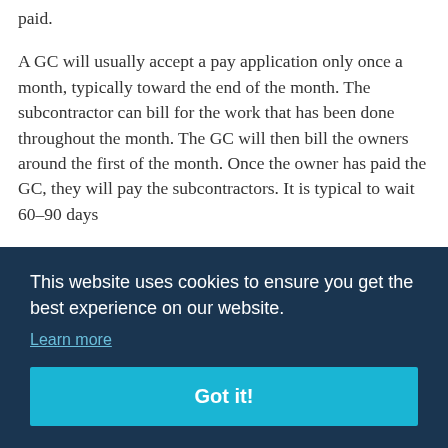paid.
A GC will usually accept a pay application only once a month, typically toward the end of the month. The subcontractor can bill for the work that has been done throughout the month. The GC will then bill the owners around the first of the month. Once the owner has paid the GC, they will pay the subcontractors. It is typical to wait 60–90 days We project oying,
This website uses cookies to ensure you get the best experience on our website. Learn more Got it!